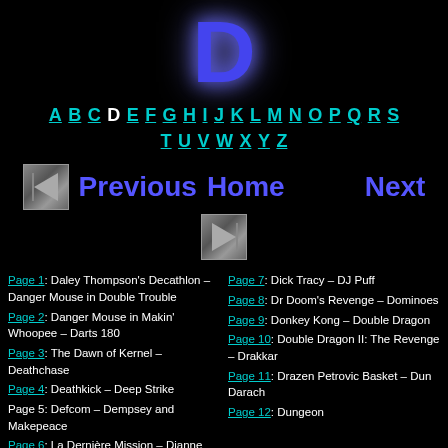D
A B C D E F G H I J K L M N O P Q R S T U V W X Y Z
Previous  Home  Next
Page 1: Daley Thompson's Decathlon – Danger Mouse in Double Trouble
Page 2: Danger Mouse in Makin' Whoopee – Darts 180
Page 3: The Dawn of Kernel – Deathchase
Page 4: Deathkick – Deep Strike
Page 5: Defcom – Dempsey and Makepeace
Page 6: La Dernière Mission – Dianne
Page 7: Dick Tracy – DJ Puff
Page 8: Dr Doom's Revenge – Dominoes
Page 9: Donkey Kong – Double Dragon
Page 10: Double Dragon II: The Revenge – Drakkar
Page 11: Drazen Petrovic Basket – Dun Darach
Page 12: Dungeon